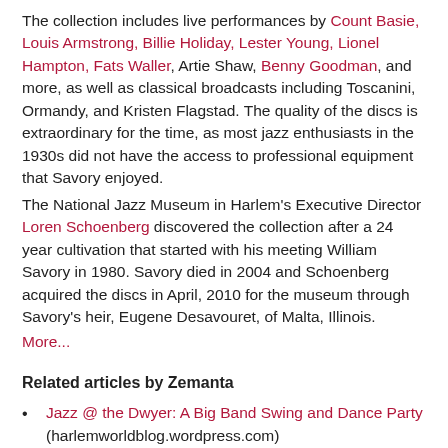The collection includes live performances by Count Basie, Louis Armstrong, Billie Holiday, Lester Young, Lionel Hampton, Fats Waller, Artie Shaw, Benny Goodman, and more, as well as classical broadcasts including Toscanini, Ormandy, and Kristen Flagstad. The quality of the discs is extraordinary for the time, as most jazz enthusiasts in the 1930s did not have the access to professional equipment that Savory enjoyed.
The National Jazz Museum in Harlem's Executive Director Loren Schoenberg discovered the collection after a 24 year cultivation that started with his meeting William Savory in 1980. Savory died in 2004 and Schoenberg acquired the discs in April, 2010 for the museum through Savory's heir, Eugene Desavouret, of Malta, Illinois.
More...
Related articles by Zemanta
Jazz @ the Dwyer: A Big Band Swing and Dance Party (harlemworldblog.wordpress.com)
Harlem Week at Gracie Mansion (harlemworldblog.wordpress.com)